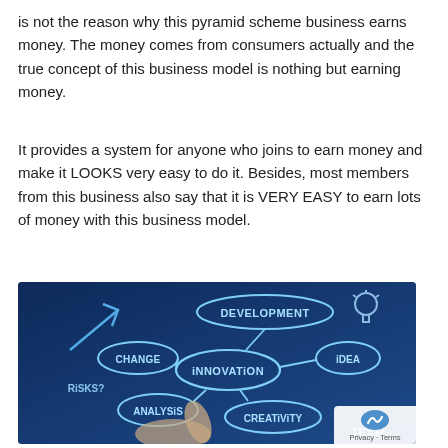is not the reason why this pyramid scheme business earns money. The money comes from consumers actually and the true concept of this business model is nothing but earning money.
It provides a system for anyone who joins to earn money and make it LOOKS very easy to do it. Besides, most members from this business also say that it is VERY EASY to earn lots of money with this business model.
[Figure (photo): A hand pointing at a mind map on a dark blue background featuring interconnected concepts: DEVELOPMENT, INNOVATION, CHANGE, ANALYSIS, RISKS?, IDEA, CREATIVITY, TEAM, with a light bulb and arrow icons drawn in glowing blue lines.]